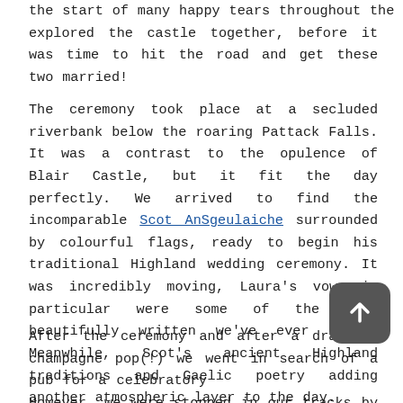the start of many happy tears throughout the day. We explored the castle together, before it was time to hit the road and get these two married!
The ceremony took place at a secluded riverbank below the roaring Pattack Falls. It was a contrast to the opulence of Blair Castle, but it fit the day perfectly. We arrived to find the incomparable Scot AnSgeulaiche surrounded by colourful flags, ready to begin his traditional Highland wedding ceremony. It was incredibly moving, Laura's vows in particular were some of the most beautifully written we've ever heard. Meanwhile, Scot's ancient Highland traditions and Gaelic poetry adding another atmospheric layer to the day.
After the ceremony and after a dramatic champagne pop(!) we went in search of a pub for a celebratory... However, we were stopped in our tracks by the sight of a rainbow appearing over a field filled with sheep. You just